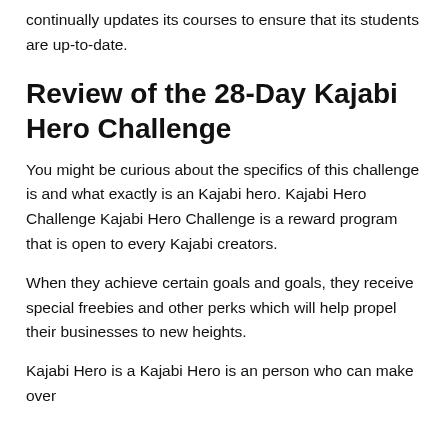continually updates its courses to ensure that its students are up-to-date.
Review of the 28-Day Kajabi Hero Challenge
You might be curious about the specifics of this challenge is and what exactly is an Kajabi hero. Kajabi Hero Challenge Kajabi Hero Challenge is a reward program that is open to every Kajabi creators.
When they achieve certain goals and goals, they receive special freebies and other perks which will help propel their businesses to new heights.
Kajabi Hero is a Kajabi Hero is an person who can make over